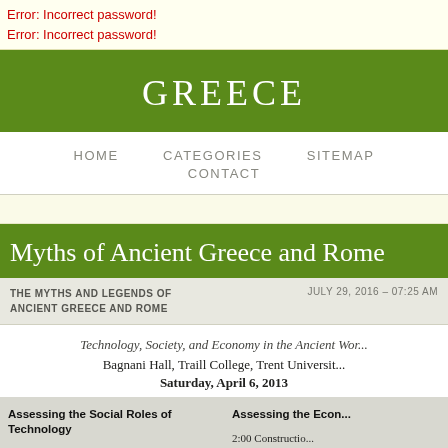Error: Incorrect password!
Error: Incorrect password!
GREECE
HOME   CATEGORIES   SITEMAP   CONTACT
Myths of Ancient Greece and Rome
THE MYTHS AND LEGENDS OF ANCIENT GREECE AND ROME   JULY 29, 2016 – 07:25 AM
Technology, Society, and Economy in the Ancient Wor...
Bagnani Hall, Traill College, Trent University
Saturday, April 6, 2013
Assessing the Social Roles of Technology
9:30 Seal Use as a Technology of Social Discourse in Empire. Margaret Root (University of Michigan,
Assessing the Econo...
2:00 Construction... Formation in the Br...